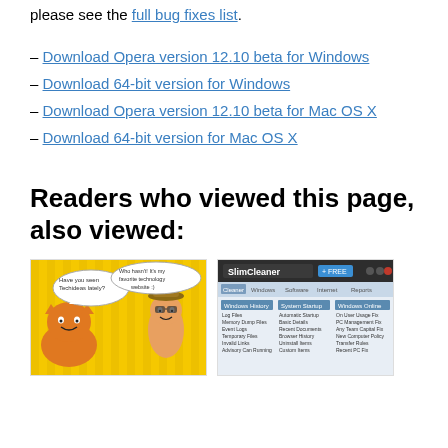please see the full bug fixes list.
– Download Opera version 12.10 beta for Windows
– Download 64-bit version for Windows
– Download Opera version 12.10 beta for Mac OS X
– Download 64-bit version for Mac OS X
Readers who viewed this page, also viewed:
[Figure (illustration): Garfield comic strip style image with cartoon characters on yellow background with speech bubbles saying 'Have you seen Techideas lately?' and 'Who hasn't! It's my favorite technology website :)']
[Figure (screenshot): SlimCleaner application screenshot showing a Windows utility program interface with various menu options and system tools listed]